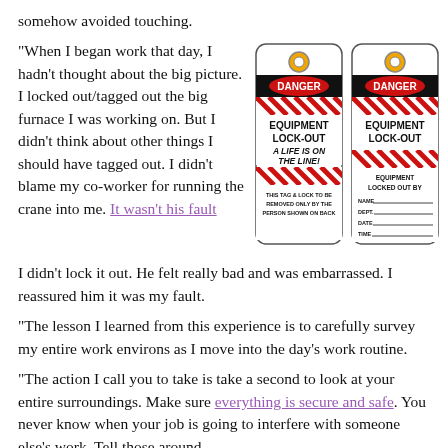somehow avoided touching.
"When I began work that day, I hadn't thought about the big picture. I locked out/tagged out the big furnace I was working on. But I didn't think about other things I should have tagged out. I didn't blame my co-worker for running the crane into me. It wasn't his fault I didn't lock it out. He felt really bad and was embarrassed. I reassured him it was my fault.
[Figure (illustration): Two red and black DANGER EQUIPMENT LOCK-OUT tags side by side. Left tag reads: DANGER, EQUIPMENT LOCK-OUT, A LIFE IS ON THE LINE!, THIS TAG & LOCK TO BE REMOVED ONLY BY THE PERSON SHOWN ON BACK. Right tag reads: DANGER, EQUIPMENT LOCK-OUT, EQUIPMENT LOCKED OUT BY, NAME, DEPT., DATE, TIME.]
"The lesson I learned from this experience is to carefully survey my entire work environs as I move into the day's work routine.
"The action I call you to take is take a second to look at your entire surroundings. Make sure everything is secure and safe. You never know when your job is going to interfere with someone else's work. Tell those around